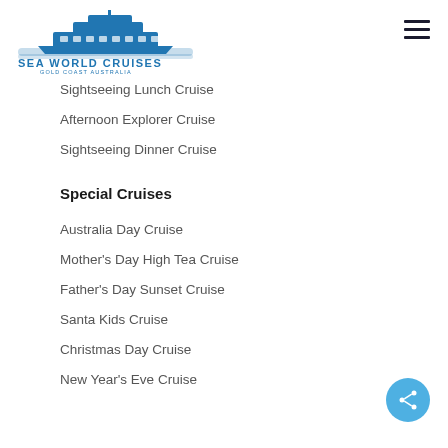[Figure (logo): Sea World Cruises logo with cruise ship illustration and text 'SEA WORLD CRUISES GOLD COAST AUSTRALIA' in blue]
Sightseeing Lunch Cruise
Afternoon Explorer Cruise
Sightseeing Dinner Cruise
Special Cruises
Australia Day Cruise
Mother's Day High Tea Cruise
Father's Day Sunset Cruise
Santa Kids Cruise
Christmas Day Cruise
New Year's Eve Cruise